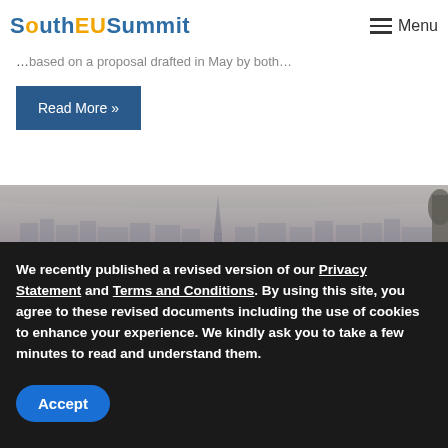South EU Summit — Menu
…based on a proposal drafted in May by both…
Read More »
[Figure (photo): A misty panoramic cityscape view showing a skyline with a prominent tall spire/antenna tower in the centre, surrounded by buildings under a hazy sky with distant hills.]
We recently published a revised version of our Privacy Statement and Terms and Conditions. By using this site, you agree to these revised documents including the use of cookies to enhance your experience. We kindly ask you to take a few minutes to read and understand them.
Accept